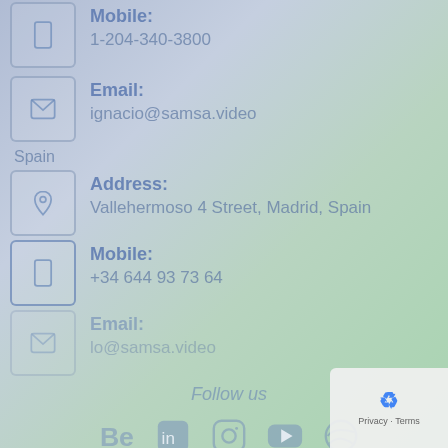Mobile: 1-204-340-3800
Email: ignacio@samsa.video
Spain
Address: Vallehermoso 4 Street, Madrid, Spain
Mobile: +34 644 93 73 64
Email: lo@samsa.video
Follow us
[Figure (other): Social media icons: Behance, LinkedIn/Twitter, Instagram, YouTube, Dribbble]